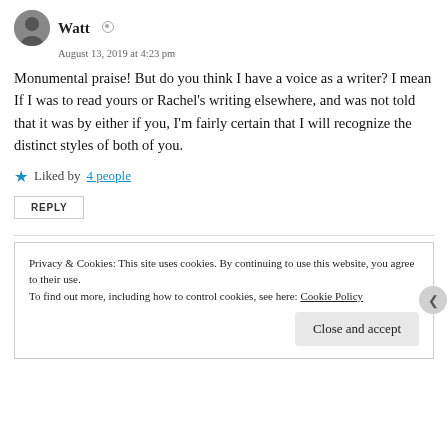Watt  •  August 13, 2019 at 4:23 pm
Monumental praise! But do you think I have a voice as a writer? I mean If I was to read yours or Rachel’s writing elsewhere, and was not told that it was by either if you, I’m fairly certain that I will recognize the distinct styles of both of you.
Liked by 4 people
REPLY
Privacy & Cookies: This site uses cookies. By continuing to use this website, you agree to their use. To find out more, including how to control cookies, see here: Cookie Policy
Close and accept